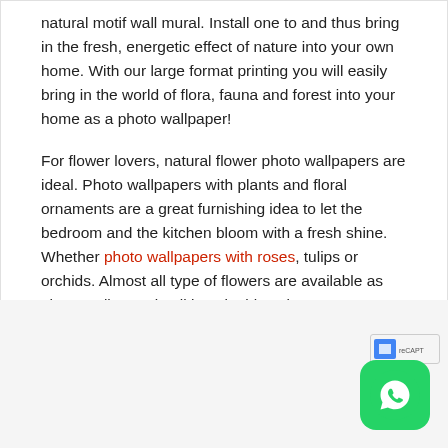natural motif wall mural. Install one to and thus bring in the fresh, energetic effect of nature into your own home. With our large format printing you will easily bring in the world of flora, fauna and forest into your home as a photo wallpaper!
For flower lovers, natural flower photo wallpapers are ideal. Photo wallpapers with plants and floral ornaments are a great furnishing idea to let the bedroom and the kitchen bloom with a fresh shine. Whether photo wallpapers with roses, tulips or orchids. Almost all type of flowers are available as photo wallpaper in all imaginable colors. Turn your dining room into a sea of flowers and let yourself be captivated by the wonderful motifs.
[Figure (other): WhatsApp contact button (green icon with phone handset) in bottom right corner, with reCAPTCHA badge above it]